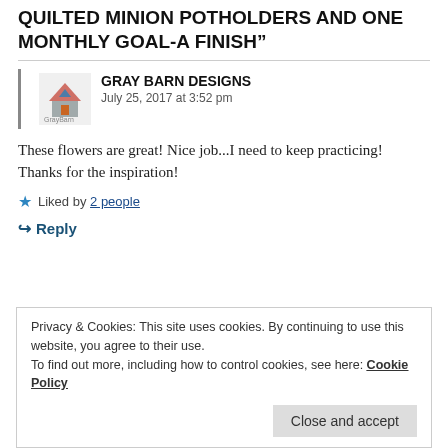QUILTED MINION POTHOLDERS AND ONE MONTHLY GOAL-A FINISH”
GRAY BARN DESIGNS
July 25, 2017 at 3:52 pm
These flowers are great! Nice job...I need to keep practicing! Thanks for the inspiration!
★ Liked by 2 people
↪ Reply
Privacy & Cookies: This site uses cookies. By continuing to use this website, you agree to their use.
To find out more, including how to control cookies, see here: Cookie Policy